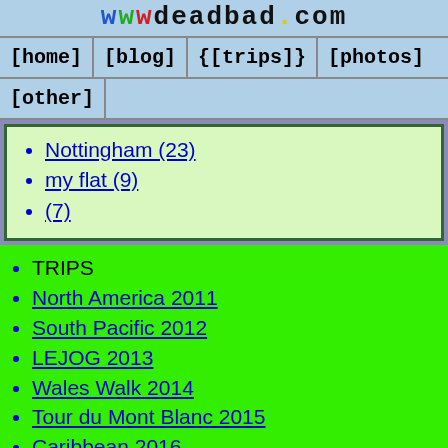wwwdeadbad.com
[home]
[blog]
{[trips]}
[photos]
[other]
Nottingham (23)
my flat (9)
(7)
TRIPS
North America 2011
South Pacific 2012
LEJOG 2013
Wales Walk 2014
Tour du Mont Blanc 2015
Caribbean 2016
North Sea Cycle
Africa Overland 2017
Eurocycle 2
Iceland 2020
Eurocycle 2022